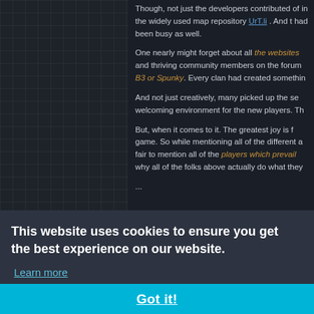Though, not just the developers contributed of the widely used map repository UrT.li . And the had been busy as well.
One nearly might forget about all the websites and thriving community members on the forum B3 or Spunky. Every clan had created something
And not just creatively, many picked up the server welcoming environment for the new players. Tha
But, when it comes to it. The greatest joy is f game. So while mentioning all of the different a fair to mention all of the players which prevailed why all of the folks above actually do what they
...
around right
This website uses cookies to ensure you get the best experience on our website.
Learn more
Got it!
Jump through the videos, ignore the 2000s m